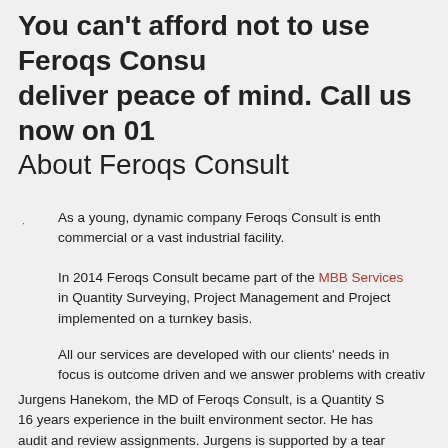You can't afford not to use Feroqs Consu... deliver peace of mind. Call us now on 01...
About Feroqs Consult
As a young, dynamic company Feroqs Consult is enth... commercial or a vast industrial facility.
In 2014 Feroqs Consult became part of the MBB Services in Quantity Surveying, Project Management and Project... implemented on a turnkey basis.
All our services are developed with our clients' needs in... focus is outcome driven and we answer problems with creativ...
Jurgens Hanekom, the MD of Feroqs Consult, is a Quantity S... 16 years experience in the built environment sector. He has... audit and review assignments. Jurgens is supported by a tear...
Feroqs Consult is named after the Aloe Ferox, as featured i... conditions showing strength, fortitude and persistence.